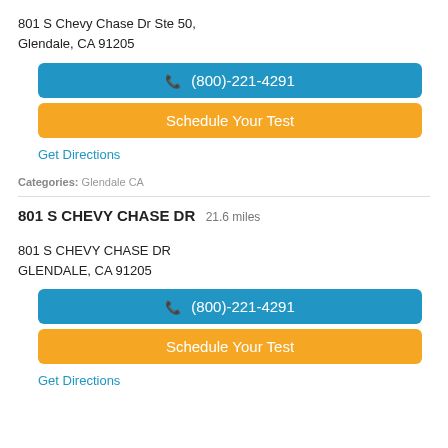801 S Chevy Chase Dr Ste 50,
Glendale, CA 91205
☎ (800)-221-4291
Schedule Your Test
Get Directions
Categories: Glendale CA
801 S CHEVY CHASE DR 21.6 miles
801 S CHEVY CHASE DR
GLENDALE, CA 91205
☎ (800)-221-4291
Schedule Your Test
Get Directions